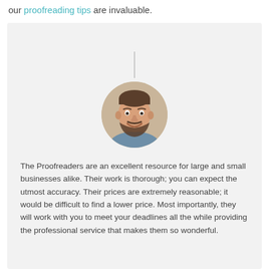our proofreading tips are invaluable.
[Figure (photo): Circular headshot of a smiling man with a beard wearing a blue shirt, set against a beige/tan background.]
The Proofreaders are an excellent resource for large and small businesses alike. Their work is thorough; you can expect the utmost accuracy. Their prices are extremely reasonable; it would be difficult to find a lower price. Most importantly, they will work with you to meet your deadlines all the while providing the professional service that makes them so wonderful.